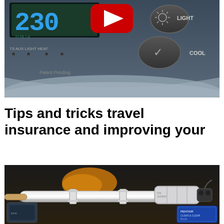[Figure (photo): Close-up photo of a pool or spa control panel with digital display showing '230', buttons labeled LIGHT, COOL with a checkmark button, and indicator lights for TS, AUX, LIGHT, HEAT. A YouTube play button icon overlays the top center. Text 'Patent Pending' visible at bottom of panel.]
Tips and tricks travel insurance and improving your
[Figure (photo): Photo of mechanical/plumbing equipment inside a dark enclosure, showing white PVC pipes with clamps, a cylindrical device (possibly a salt cell or filter), and a blue label/box in the bottom right corner.]